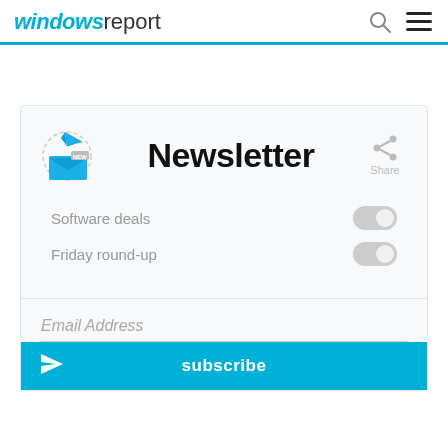windows report
[Figure (screenshot): Newsletter signup card with envelope/paper-plane icon, title 'Newsletter', share button, software deals and friday round-up toggles, email address input, and subscribe button]
Newsletter
Software deals
Friday round-up
Email Address
subscribe